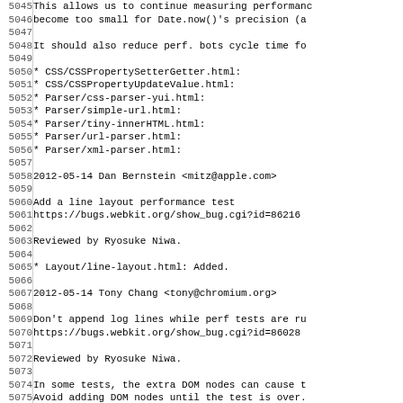Source code / changelog lines 5045–5077
5045: This allows us to continue measuring performanc
5046: become too small for Date.now()'s precision (a
5047: (blank)
5048: It should also reduce perf. bots cycle time fo
5049: (blank)
5050: * CSS/CSSPropertySetterGetter.html:
5051: * CSS/CSSPropertyUpdateValue.html:
5052: * Parser/css-parser-yui.html:
5053: * Parser/simple-url.html:
5054: * Parser/tiny-innerHTML.html:
5055: * Parser/url-parser.html:
5056: * Parser/xml-parser.html:
5057: (blank)
5058: 2012-05-14  Dan Bernstein  <mitz@apple.com>
5059: (blank)
5060: Add a line layout performance test
5061: https://bugs.webkit.org/show_bug.cgi?id=86216
5062: (blank)
5063: Reviewed by Ryosuke Niwa.
5064: (blank)
5065: * Layout/line-layout.html: Added.
5066: (blank)
5067: 2012-05-14  Tony Chang  <tony@chromium.org>
5068: (blank)
5069: Don't append log lines while perf tests are ru
5070: https://bugs.webkit.org/show_bug.cgi?id=86028
5071: (blank)
5072: Reviewed by Ryosuke Niwa.
5073: (blank)
5074: In some tests, the extra DOM nodes can cause t
5075: Avoid adding DOM nodes until the test is over.
5076: we append nodes as we run so the user can have
5077: (blank)